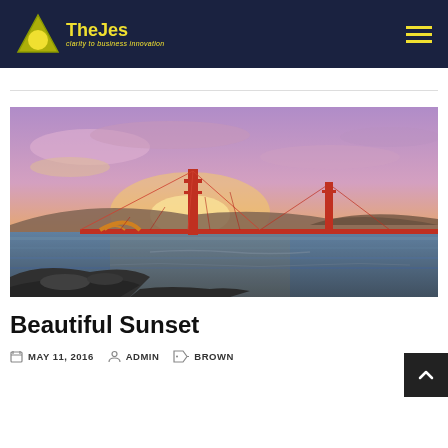TheJes — clarity to business innovation
[Figure (photo): Golden Gate Bridge at sunset with dramatic purple and orange sky, viewed from rocky shoreline]
Beautiful Sunset
MAY 11, 2016   ADMIN   BROWN